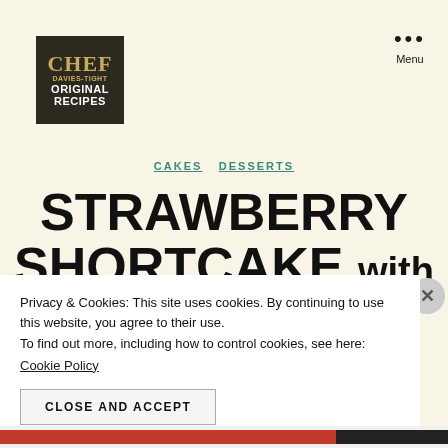[Figure (logo): Chef Davies-Tight Original Recipes logo — dark background with gold and white text]
Menu
CAKES  DESSERTS
STRAWBERRY SHORTCAKE with biscuits
Privacy & Cookies: This site uses cookies. By continuing to use this website, you agree to their use.
To find out more, including how to control cookies, see here:
Cookie Policy
CLOSE AND ACCEPT